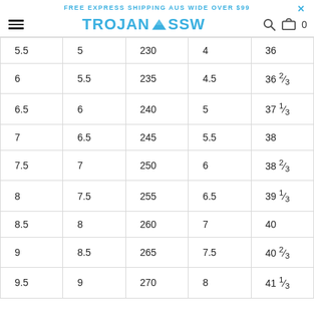FREE EXPRESS SHIPPING AUS WIDE OVER $99
[Figure (logo): Trojan SSW logo with mountain icon in blue]
| 5.5 | 5 | 230 | 4 | 36 |
| 6 | 5.5 | 235 | 4.5 | 36 ⅔ |
| 6.5 | 6 | 240 | 5 | 37 ⅓ |
| 7 | 6.5 | 245 | 5.5 | 38 |
| 7.5 | 7 | 250 | 6 | 38 ⅔ |
| 8 | 7.5 | 255 | 6.5 | 39 ⅓ |
| 8.5 | 8 | 260 | 7 | 40 |
| 9 | 8.5 | 265 | 7.5 | 40 ⅔ |
| 9.5 | 9 | 270 | 8 | 41 ⅓ |